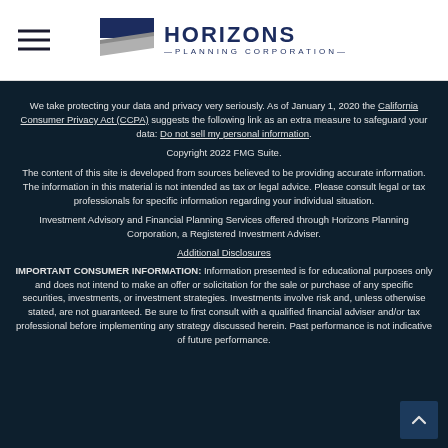Horizons Planning Corporation
We take protecting your data and privacy very seriously. As of January 1, 2020 the California Consumer Privacy Act (CCPA) suggests the following link as an extra measure to safeguard your data: Do not sell my personal information.
Copyright 2022 FMG Suite.
The content of this site is developed from sources believed to be providing accurate information. The information in this material is not intended as tax or legal advice. Please consult legal or tax professionals for specific information regarding your individual situation.
Investment Advisory and Financial Planning Services offered through Horizons Planning Corporation, a Registered Investment Adviser.
Additional Disclosures
IMPORTANT CONSUMER INFORMATION:  Information presented is for educational purposes only and does not intend to make an offer or solicitation for the sale or purchase of any specific securities, investments, or investment strategies.  Investments involve risk and, unless otherwise stated, are not guaranteed.  Be sure to first consult with a qualified financial adviser and/or tax professional before implementing any strategy discussed herein. Past performance is not indicative of future performance.